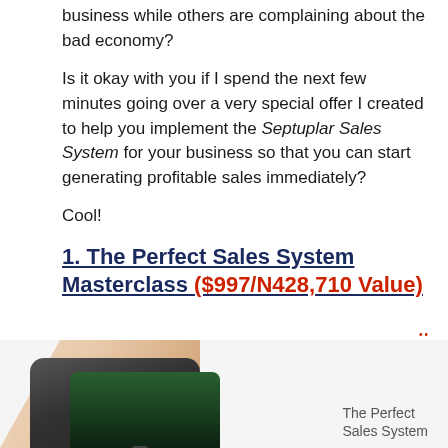business while others are complaining about the bad economy?
Is it okay with you if I spend the next few minutes going over a very special offer I created to help you implement the Septuplar Sales System for your business so that you can start generating profitable sales immediately?
Cool!
1. The Perfect Sales System Masterclass ($997/N428,710 Value)
[Figure (photo): A hand holding a smartphone, image of The Perfect Sales System branding visible, with a green-lit screen.]
The Perfect Sales System